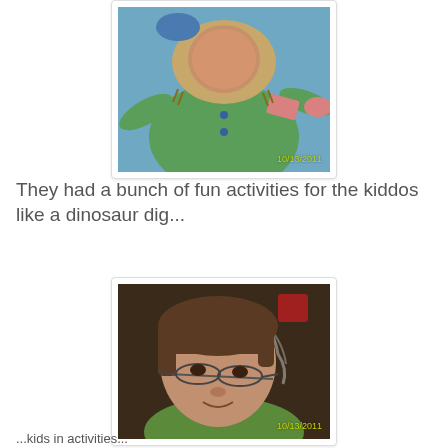[Figure (photo): Child's face peeking through a cutout hole in a painted carnival board depicting a green-clothed character. Timestamp reads 10/13/2011.]
They had a bunch of fun activities for the kiddos like a dinosaur dig...
[Figure (photo): Young girl with glasses wearing a green shirt, looking up at the camera from below. Timestamp reads 10/13/2011.]
...kids in activities...